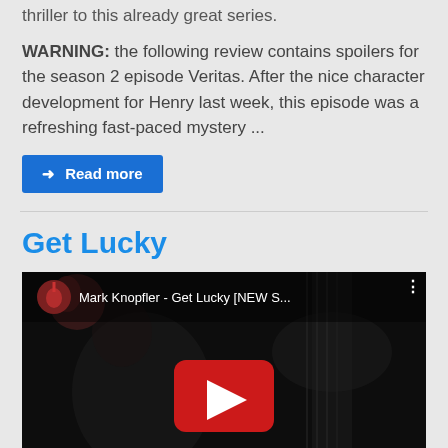thriller to this already great series.
WARNING: the following review contains spoilers for the season 2 episode Veritas. After the nice character development for Henry last week, this episode was a refreshing fast-paced mystery ...
➜ Read more
Get Lucky
[Figure (screenshot): YouTube video thumbnail for Mark Knopfler - Get Lucky [NEW S...] showing a dark black and white image of a musician with a guitar, with a red YouTube play button in the center]